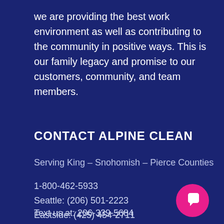we are providing the best work environment as well as contributing to the community in positive ways. This is our family legacy and promise to our customers, community, and team members.
CONTACT ALPINE CLEAN
Serving King – Snohomish – Pierce Counties
1-800-462-5933
Seattle: (206) 501-2223
Eastside: (425) 454-2711
Text us at: 206-339-5684
[Figure (logo): Pink/magenta circle with a white quotation mark or chat bubble icon]